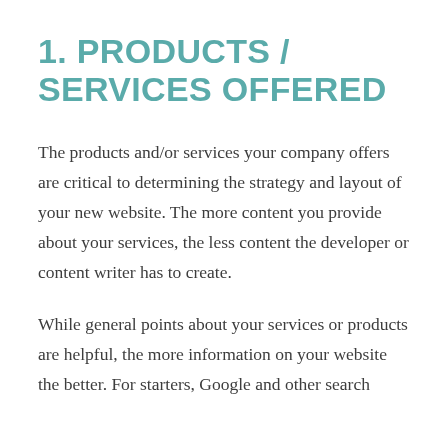1. PRODUCTS / SERVICES OFFERED
The products and/or services your company offers are critical to determining the strategy and layout of your new website. The more content you provide about your services, the less content the developer or content writer has to create.
While general points about your services or products are helpful, the more information on your website the better. For starters, Google and other search